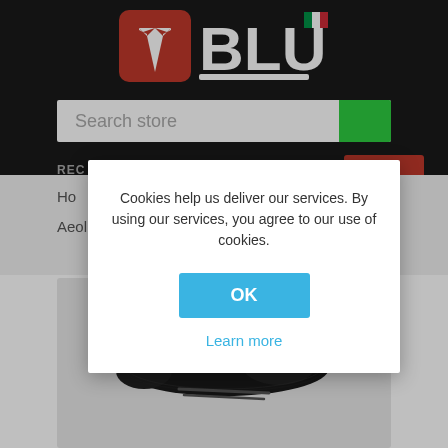[Figure (screenshot): Website header with Tesla-style logo (red square with T) and BLU brand logo with Italian flag, on dark background]
[Figure (screenshot): Search store input bar with green button on right]
REC
T (0)
Ho
Aeol
Cookies help us deliver our services. By using our services, you agree to our use of cookies.
OK
Learn more
[Figure (photo): Black carbon fiber bicycle saddle on light grey background]